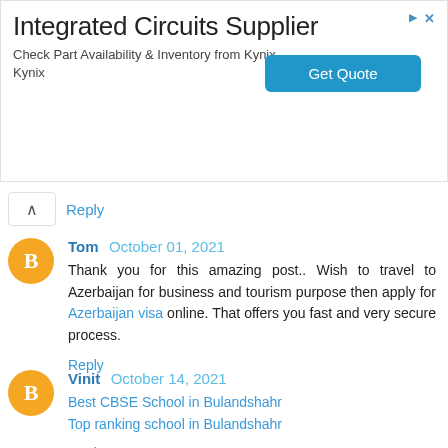[Figure (other): Advertisement banner for Integrated Circuits Supplier - Kynix with Get Quote button]
Reply
Tom October 01, 2021
Thank you for this amazing post.. Wish to travel to Azerbaijan for business and tourism purpose then apply for Azerbaijan visa online. That offers you fast and very secure process.
Reply
Vinit October 14, 2021
Best CBSE School in Bulandshahr
Top ranking school in Bulandshahr
Reply